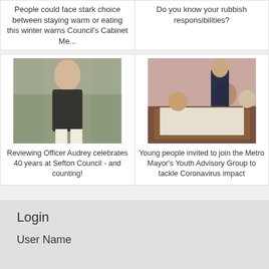People could face stark choice between staying warm or eating this winter warns Council's Cabinet Me...
Do you know your rubbish responsibilities?
[Figure (photo): Woman in black polka dot top standing outdoors with bare trees in the background]
Reviewing Officer Audrey celebrates 40 years at Sefton Council - and counting!
[Figure (photo): People around a meeting table looking at documents, man in suit standing over them, pink wall in background]
Young people invited to join the Metro Mayor's Youth Advisory Group to tackle Coronavirus impact
Login
User Name